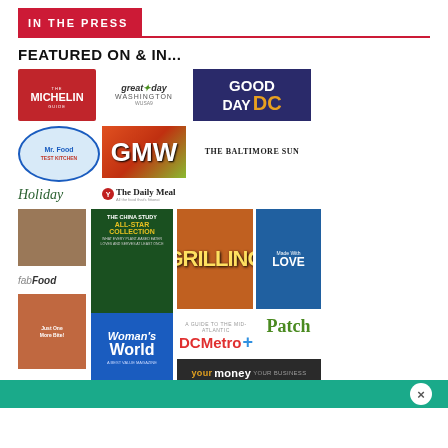IN THE PRESS
FEATURED ON & IN...
[Figure (infographic): A collage of media logos and publication covers including: The Michelin Guide, Great Day Washington WUSA9, Good Day DC, Mr. Food Test Kitchen, GMW, The Baltimore Sun, Holiday magazine, The Daily Meal, The China Study All-Star Collection, Grilling magazine, Made With Love, fabFood, Patch, Just One More Bite, Woman's World, DCMetro+, Your Money Your Business]
[Figure (other): Teal/cyan bar at bottom of page with close (X) button]